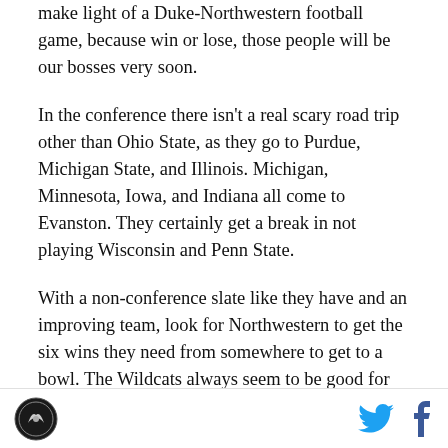make light of a Duke-Northwestern football game, because win or lose, those people will be our bosses very soon.
In the conference there isn't a real scary road trip other than Ohio State, as they go to Purdue, Michigan State, and Illinois. Michigan, Minnesota, Iowa, and Indiana all come to Evanston. They certainly get a break in not playing Wisconsin and Penn State.
With a non-conference slate like they have and an improving team, look for Northwestern to get the six wins they need from somewhere to get to a bowl. The Wildcats always seem to be good for one big upset, and if they win their non-conference games and get that upset they only
[Figure (logo): SB Nation logo — circular badge with a basketball/sports icon, black and white]
[Figure (logo): Twitter bird icon in blue and Facebook 'f' icon in dark blue, social share icons]